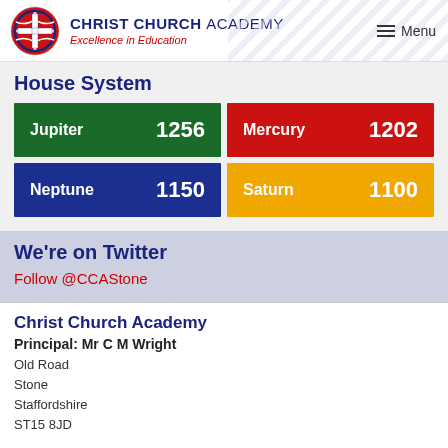CHRIST CHURCH ACADEMY — Excellence in Education
House System
[Figure (infographic): Four house score cards: Jupiter 1256 (green), Mercury 1202 (red), Neptune 1150 (blue), Saturn 1100 (yellow)]
We're on Twitter
Follow @CCAStone
Christ Church Academy
Principal: Mr C M Wright
Old Road
Stone
Staffordshire
ST15 8JD